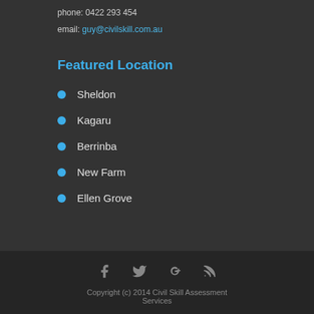phone: 0422 293 454
email: guy@civilskill.com.au
Featured Location
Sheldon
Kagaru
Berrinba
New Farm
Ellen Grove
[Figure (infographic): Social media icons: Facebook, Twitter, Google+, RSS feed]
Copyright (c) 2014 Civil Skill Assessment Services